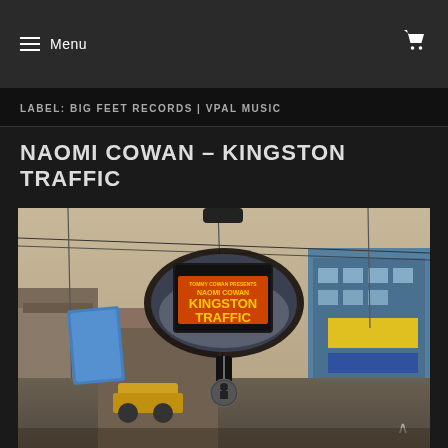Menu
LABEL: BIG FEET RECORDS | VPAL MUSIC
NAOMI COWAN – KINGSTON TRAFFIC
[Figure (photo): Album cover photo showing a car rearview mirror with 'Tommy Cowan Presents Naomi Cowan Kingston Traffic' text, hanging air freshener, and a busy Kingston Jamaica street scene with shops and power lines in the background]